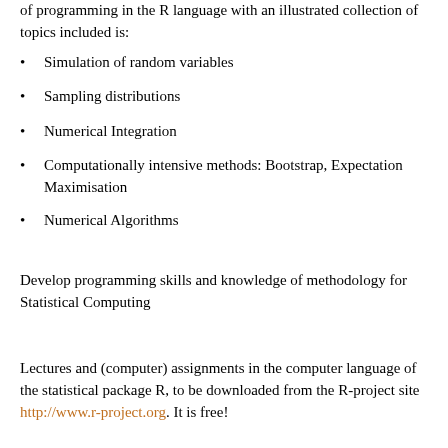of programming in the R language with an illustrated collection of topics included is:
Simulation of random variables
Sampling distributions
Numerical Integration
Computationally intensive methods: Bootstrap, Expectation Maximisation
Numerical Algorithms
Develop programming skills and knowledge of methodology for Statistical Computing
Lectures and (computer) assignments in the computer language of the statistical package R, to be downloaded from the R-project site http://www.r-project.org. It is free!